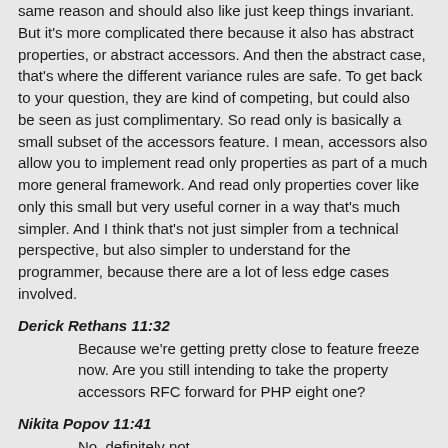same reason and should also like just keep things invariant. But it's more complicated there because it also has abstract properties, or abstract accessors. And then the abstract case, that's where the different variance rules are safe. To get back to your question, they are kind of competing, but could also be seen as just complimentary. So read only is basically a small subset of the accessors feature. I mean, accessors also allow you to implement read only properties as part of a much more general framework. And read only properties cover like only this small but very useful corner in a way that's much simpler. And I think that's not just simpler from a technical perspective, but also simpler to understand for the programmer, because there are a lot of less edge cases involved.
Derick Rethans 11:32
Because we're getting pretty close to feature freeze now. Are you still intending to take the property accessors RFC forward for PHP eight one?
Nikita Popov 11:41
No, definitely not.